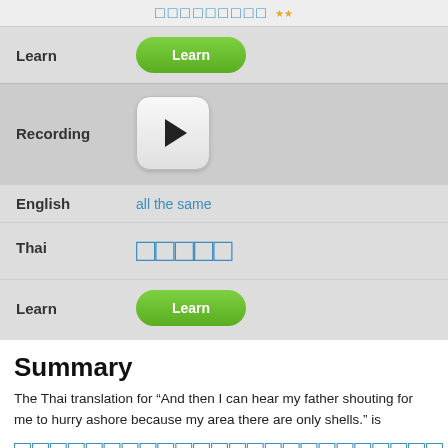[Figure (screenshot): Top strip with Thai text boxes in blue and a score indicator in gold]
Learn
[Figure (screenshot): Green Learn button (rounded pill shape)]
Recording
[Figure (screenshot): Play button (rounded square with triangle)]
English
all the same
Thai
Thai characters (boxes)
Learn
[Figure (screenshot): Green Learn button (rounded pill shape)]
Summary
The Thai translation for “And then I can hear my father shouting for me to hurry ashore because my area there are only shells.” is
Thai characters (long sentence)